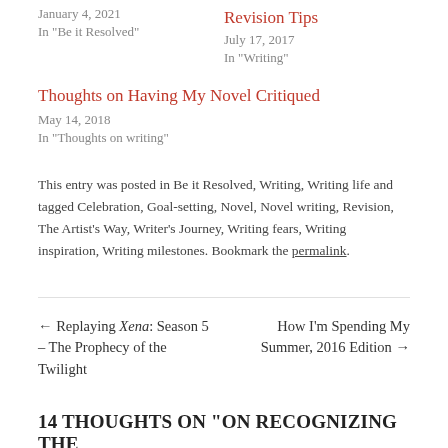January 4, 2021
In "Be it Resolved"
Revision Tips
July 17, 2017
In "Writing"
Thoughts on Having My Novel Critiqued
May 14, 2018
In "Thoughts on writing"
This entry was posted in Be it Resolved, Writing, Writing life and tagged Celebration, Goal-setting, Novel, Novel writing, Revision, The Artist's Way, Writer's Journey, Writing fears, Writing inspiration, Writing milestones. Bookmark the permalink.
← Replaying Xena: Season 5 – The Prophecy of the Twilight
How I'm Spending My Summer, 2016 Edition →
14 THOUGHTS ON "ON RECOGNIZING THE